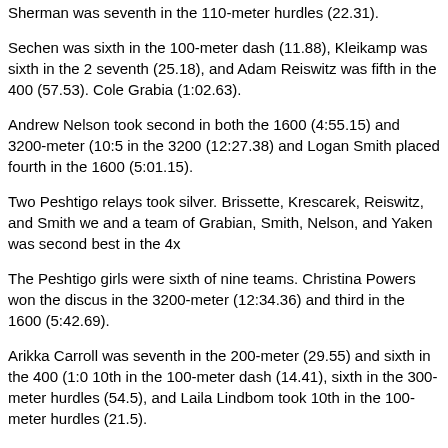Sherman was seventh in the 110-meter hurdles (22.31).
Sechen was sixth in the 100-meter dash (11.88), Kleikamp was sixth in the 2 seventh (25.18), and Adam Reiswitz was fifth in the 400 (57.53). Cole Grabia (1:02.63).
Andrew Nelson took second in both the 1600 (4:55.15) and 3200-meter (10:5 in the 3200 (12:27.38) and Logan Smith placed fourth in the 1600 (5:01.15).
Two Peshtigo relays took silver. Brissette, Krescarek, Reiswitz, and Smith we and a team of Grabian, Smith, Nelson, and Yaken was second best in the 4x
The Peshtigo girls were sixth of nine teams. Christina Powers won the discus in the 3200-meter (12:34.36) and third in the 1600 (5:42.69).
Arikka Carroll was seventh in the 200-meter (29.55) and sixth in the 400 (1:0 10th in the 100-meter dash (14.41), sixth in the 300-meter hurdles (54.5), and Laila Lindbom took 10th in the 100-meter hurdles (21.5).
Annabelle Smith took fourth in the pole vault (6-6) and Jessi Swiatnicki took s seventh in the high jump (4-8).
A 4x800 relay team of Pesch, Archambault, Riley Sabel, and Mary Mayhew w
Oconto's girls were fifth, with one win coming in the 4x200 relay, which was w Kyanne Wusterbarth, and Hannah Moe in 1 minutes, 55.18 seconds.
Moe took second in the high jump (4-10) and fourth in the 300-meter hurdles dash (29.21).